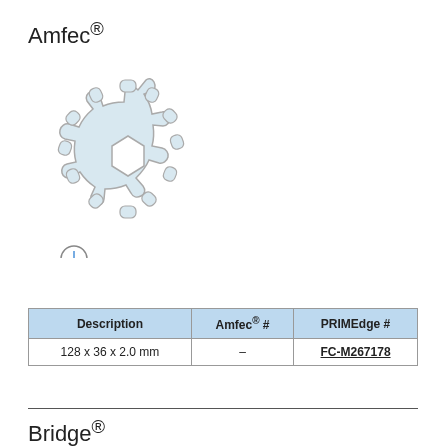Amfec®
[Figure (illustration): A gear/sprocket shape with rounded teeth and hexagonal center hole, light gray fill with outline. Below it is a magnifying glass icon with a plus sign.]
| Description | Amfec® # | PRIMEdge # |
| --- | --- | --- |
| 128 x 36 x 2.0 mm | – | FC-M267178 |
Bridge®